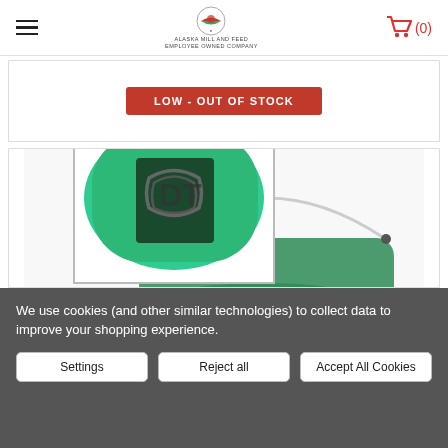Alaska Mill and Feed — Employee Owned Company — navigation bar with hamburger menu and cart (0)
LOW - OUT OF STOCK
[Figure (photo): A green bucket/container with a metal handle, shown from above at an angle. The lid area shows internal coiled/curved components visible through an opening.]
We use cookies (and other similar technologies) to collect data to improve your shopping experience.
Settings | Reject all | Accept All Cookies